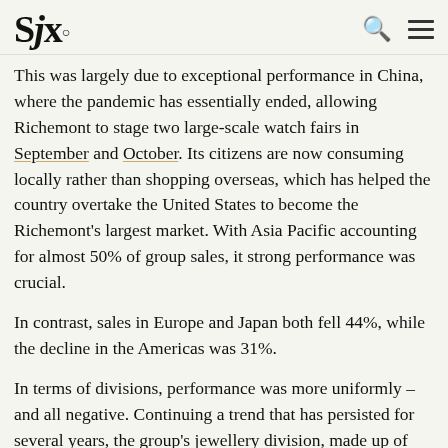SJx.
This was largely due to exceptional performance in China, where the pandemic has essentially ended, allowing Richemont to stage two large-scale watch fairs in September and October. Its citizens are now consuming locally rather than shopping overseas, which has helped the country overtake the United States to become the Richemont's largest market. With Asia Pacific accounting for almost 50% of group sales, it strong performance was crucial.
In contrast, sales in Europe and Japan both fell 44%, while the decline in the Americas was 31%.
In terms of divisions, performance was more uniformly – and all negative. Continuing a trend that has persisted for several years, the group's jewellery division, made up of Cartier and Vac Cleef & Arpels, was the best performer. While first-half sales dropped by 18%, sales in second quarter recovered to rise by 4%.